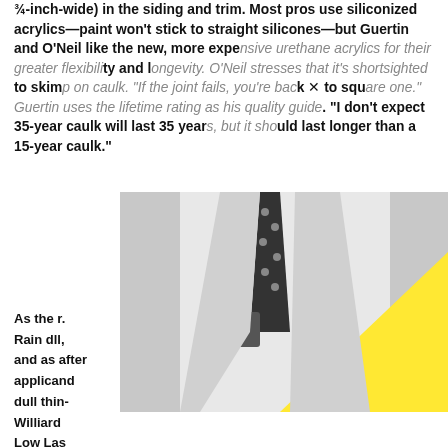¾-inch-wide) in the siding and trim. Most pros use siliconized acrylics—paint won't stick to straight silicones—but Guertin and O'Neil like the new, more expensive urethane acrylics for their greater flexibility and longevity. O'Neil stresses that it's shortsighted to skimp on caulk. "If the joint fails, you're back to square one." Guertin uses the lifetime rating as his quality guide. "I don't expect 35-year caulk will last 35 years, but it should last longer than a 15-year caulk."
[Figure (photo): Black and white photo of a man in a suit with polka-dot tie and pocket square, with a large yellow triangle/shape overlaid on the right side of the image]
As the... Rain d... and a... after applic... and dull th... in- Willia... rd Low L... as 35 an... Paint w... tion Agency) reports that most conventional paints and coatings contain Volatile Organic Compounds (VOC's) that can be dangerous to your health. An experienced painting company will be able to advise you on the potential health hazards of these chemicals, which products are safest, and how to best manage any VOC risk that may occur. House